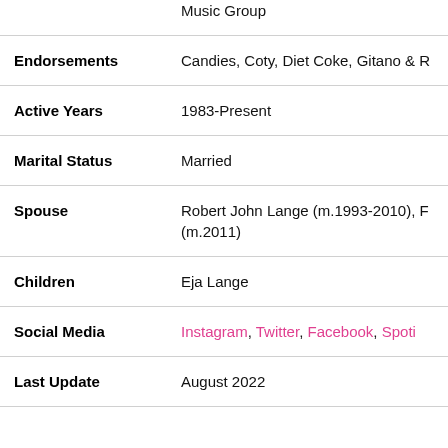|  | Music Group |
| Endorsements | Candies, Coty, Diet Coke, Gitano & R... |
| Active Years | 1983-Present |
| Marital Status | Married |
| Spouse | Robert John Lange (m.1993-2010), F... (m.2011) |
| Children | Eja Lange |
| Social Media | Instagram, Twitter, Facebook, Spoti... |
| Last Update | August 2022 |